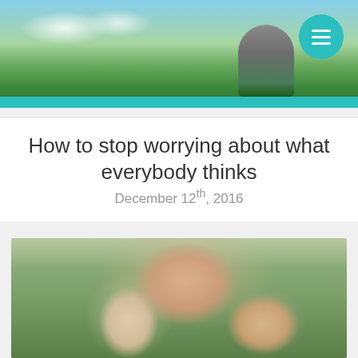[Figure (photo): Website header with outdoor landscape background showing sky, clouds, green field, a figure standing, teal accent bar at bottom, and a teal circular hamburger menu button in top right corner]
How to stop worrying about what everybody thinks
December 12th, 2016
[Figure (photo): A smiling woman with long brown hair outdoors in a field laughing with two young children - a girl on the left leaning into her face and a boy on the right laughing, all appearing joyful]